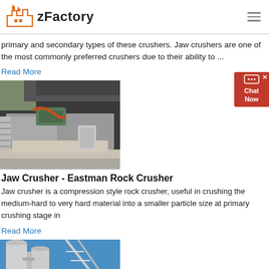zFactory
primary and secondary types of these crushers. Jaw crushers are one of the most commonly preferred crushers due to their ability to ...
Read More
[Figure (photo): Industrial jaw crusher machinery with green components, conveyor belts, and metal framework]
Jaw Crusher - Eastman Rock Crusher
Jaw crusher is a compression style rock crusher, useful in crushing the medium-hard to very hard material into a smaller particle size at primary crushing stage in
Read More
[Figure (photo): Industrial silos and piping structures against blue sky]